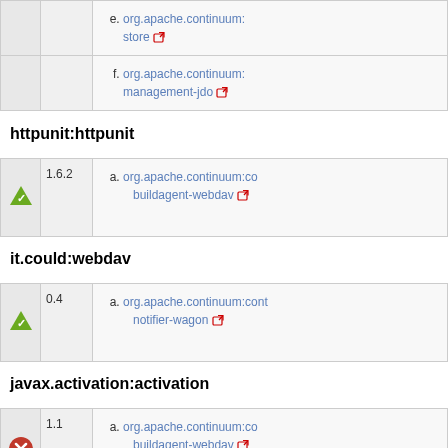|  | version | dependencies |
| --- | --- | --- |
| [ok] |  | e. org.apache.continuum:... store ↗ |
|  |  | f. org.apache.continuum:... management-jdo ↗ |
httpunit:httpunit
|  | version | dependencies |
| --- | --- | --- |
| [ok] | 1.6.2 | a. org.apache.continuum:co... buildagent-webdav ↗ |
it.could:webdav
|  | version | dependencies |
| --- | --- | --- |
| [ok] | 0.4 | a. org.apache.continuum:cont... notifier-wagon ↗ |
javax.activation:activation
|  | version | dependencies |
| --- | --- | --- |
| [err] | 1.1 | a. org.apache.continuum:co... buildagent-webdav ↗ |
|  |  | b. org.apache.continuum:co... |